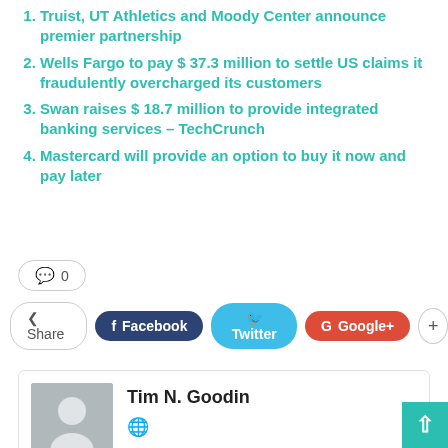Truist, UT Athletics and Moody Center announce premier partnership
Wells Fargo to pay $ 37.3 million to settle US claims it fraudulently overcharged its customers
Swan raises $ 18.7 million to provide integrated banking services – TechCrunch
Mastercard will provide an option to buy it now and pay later
💬 0
Share | Facebook | Twitter | Google+ | +
Tim N. Goodin